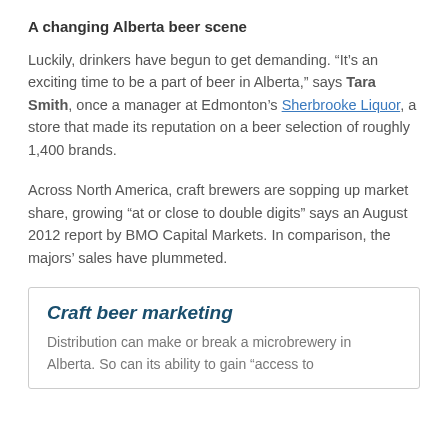A changing Alberta beer scene
Luckily, drinkers have begun to get demanding. “It’s an exciting time to be a part of beer in Alberta,” says Tara Smith, once a manager at Edmonton’s Sherbrooke Liquor, a store that made its reputation on a beer selection of roughly 1,400 brands.
Across North America, craft brewers are sopping up market share, growing “at or close to double digits” says an August 2012 report by BMO Capital Markets. In comparison, the majors’ sales have plummeted.
Craft beer marketing
Distribution can make or break a microbrewery in Alberta. So can its ability to gain “access to